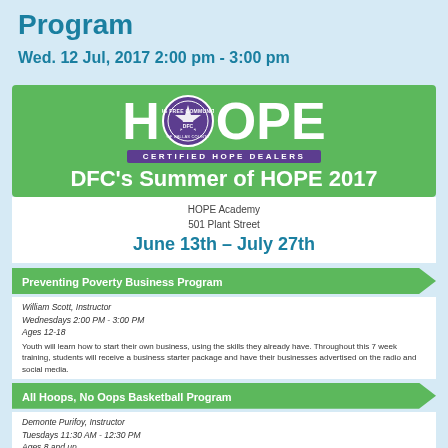Program
Wed. 12 Jul, 2017 2:00 pm - 3:00 pm
[Figure (illustration): DFC's Summer of HOPE 2017 flyer with green background, HOPE logo with Drug Free Communities of Dallas County seal, 'CERTIFIED HOPE DEALERS' purple bar, and program title 'DFC's Summer of HOPE 2017']
HOPE Academy
501 Plant Street
June 13th – July 27th
Preventing Poverty Business Program
William Scott, Instructor
Wednesdays 2:00 PM - 3:00 PM
Ages 12-18
Youth will learn how to start their own business, using the skills they already have. Throughout this 7 week training, students will receive a business starter package and have their businesses advertised on the radio and social media.
All Hoops, No Oops Basketball Program
Demonte Purifoy, Instructor
Tuesdays 11:30 AM - 12:30 PM
Ages 8 and up
Kids will receive an inspirational & educational word, while also playing and learning more about the game they love.